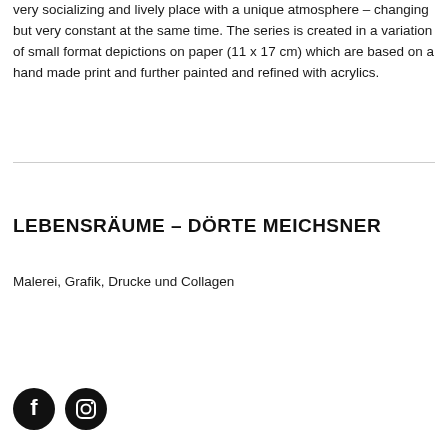very socializing and lively place with a unique atmosphere – changing but very constant at the same time. The series is created in a variation of small format depictions on paper (11 x 17 cm) which are based on a hand made print and further painted and refined with acrylics.
LEBENSRÄUME – DÖRTE MEICHSNER
Malerei, Grafik, Drucke und Collagen
[Figure (illustration): Two circular social media icons on black background: Facebook (f) and Instagram (camera) icons]